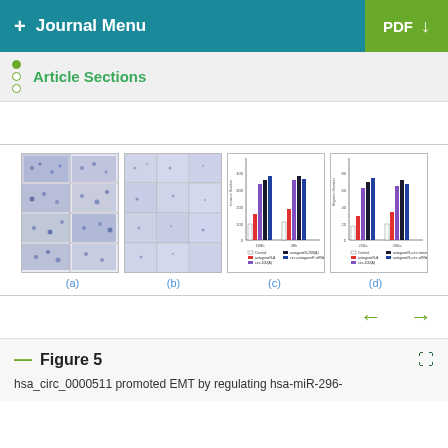+ Journal Menu   PDF ↓
Article Sections
[Figure (photo): Four sub-panels (a)(b)(c)(d): (a) microscopy images of cell migration/invasion assay, (b) similar microscopy images, (c) bar chart showing colony counts across treatment groups for 168h and 48h, (d) bar chart showing colony counts for 250a and 266a groups]
(a)
(b)
(c)
(d)
Figure 5
hsa_circ_0000511 promoted EMT by regulating hsa-miR-296-